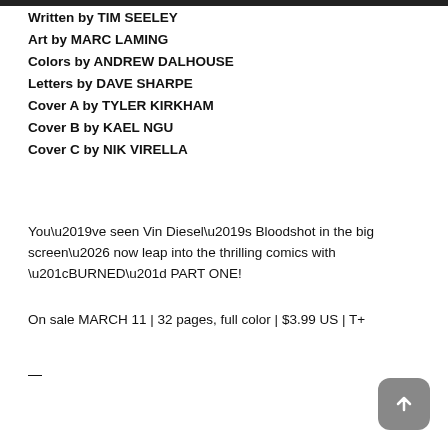Written by TIM SEELEY
Art by MARC LAMING
Colors by ANDREW DALHOUSE
Letters by DAVE SHARPE
Cover A by TYLER KIRKHAM
Cover B by KAEL NGU
Cover C by NIK VIRELLA
You’ve seen Vin Diesel’s Bloodshot in the big screen… now leap into the thrilling comics with “BURNED” PART ONE!
On sale MARCH 11 | 32 pages, full color | $3.99 US | T+
—